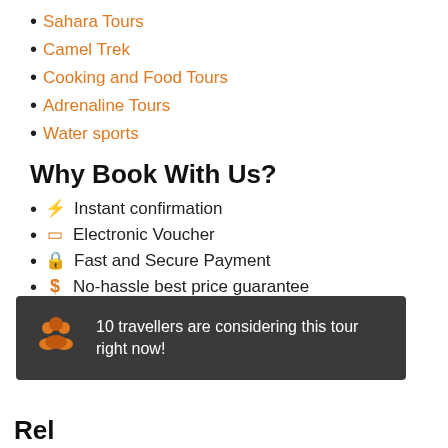Sahara Tours
Camel Trek
Cooking and Food Tours
Adrenaline Tours
Water sports
Why Book With Us?
⚡ Instant confirmation
☐ Electronic Voucher
🔒 Fast and Secure Payment
$ No-hassle best price guarantee
🎧 Customer care available 24/7
★ Hand-picked Tours & Activities
10 travellers are considering this tour right now!
Rel